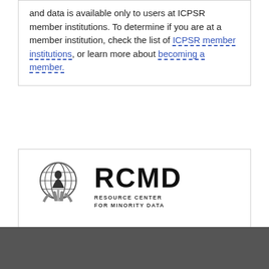and data is available only to users at ICPSR member institutions. To determine if you are at a member institution, check the list of ICPSR member institutions, or learn more about becoming a member.
[Figure (logo): RCMD - Resource Center for Minority Data logo with globe and hands graphic]
This study is provided by Resource Center for Minority Data (RCMD).